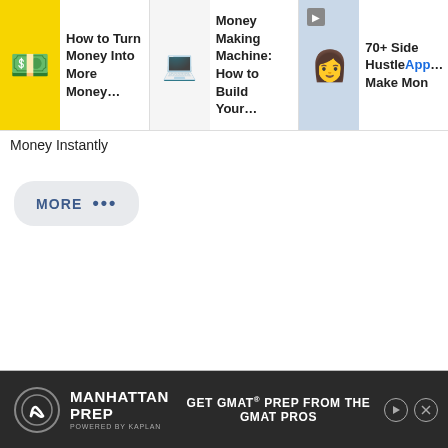[Figure (screenshot): Horizontal row of three article cards with thumbnails. Card 1: yellow background with money/cash image, title 'How to Turn Money Into More Money…'. Card 2: white/light background with laptop and money image, title 'Money Making Machine: How to Build Your…'. Card 3: person with phone on blue background, title '70+ Side Hustle App… Make Mon…'. Each card has a thumbnail image on the left and bold text on the right.]
Money Instantly
[Figure (screenshot): A rounded pill-shaped button with light grey background reading 'MORE' followed by three dots (ellipsis)]
[Figure (screenshot): Advertisement bar at the bottom: dark background with Manhattan Prep logo (M in circle), brand name MANHATTAN PREP, POWERED BY KAPLAN subtitle, and tagline GET GMAT® PREP FROM THE GMAT PROS, with play and close buttons on the right.]